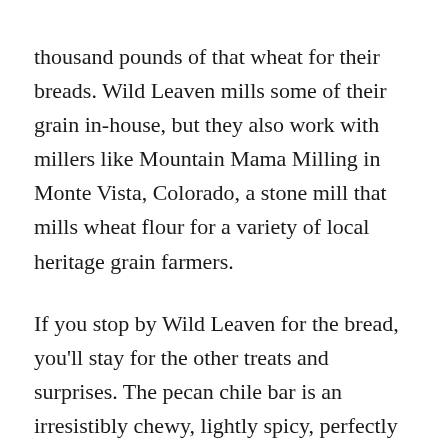thousand pounds of that wheat for their breads. Wild Leaven mills some of their grain in-house, but they also work with millers like Mountain Mama Milling in Monte Vista, Colorado, a stone mill that mills wheat flour for a variety of local heritage grain farmers.
If you stop by Wild Leaven for the bread, you'll stay for the other treats and surprises. The pecan chile bar is an irresistibly chewy, lightly spicy, perfectly sweet treat that left me with red-tipped fingers and a watering mouth. When I visited, I lunched on delicious potato soup made with Taos Farmers